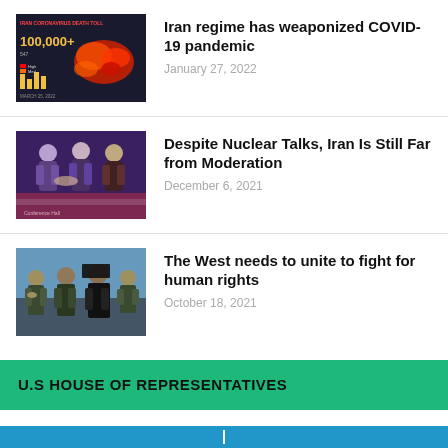[Figure (photo): Iran coronavirus death toll infographic map with red and orange regions]
Iran regime has weaponized COVID-19 pandemic
January 27, 2022
[Figure (photo): Men in suits shaking hands at a formal diplomatic gathering]
Despite Nuclear Talks, Iran Is Still Far from Moderation
December 6, 2021
[Figure (photo): Iranian military officials in uniform standing together]
The West needs to unite to fight for human rights
October 18, 2021
U.S HOUSE OF REPRESENTATIVES